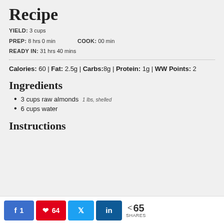Recipe
YIELD: 3 cups
PREP: 8 hrs 0 min   COOK: 00 min
READY IN: 31 hrs 40 mins
Calories: 60 | Fat: 2.5g | Carbs:8g | Protein: 1g | WW Points: 2
Ingredients
3 cups raw almonds 1 lbs, shelled
6 cups water
Instructions